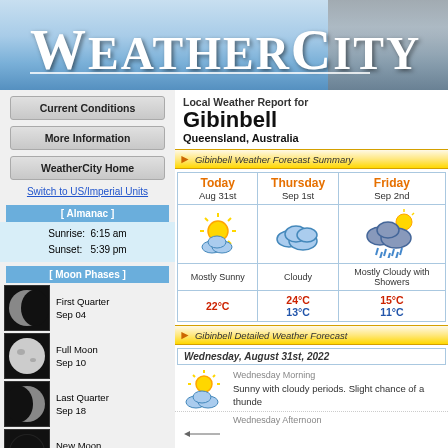WeatherCity
Current Conditions
More Information
WeatherCity Home
Switch to US/Imperial Units
[ Almanac ]
Sunrise: 6:15 am
Sunset: 5:39 pm
[ Moon Phases ]
First Quarter
Sep 04
[Figure (photo): First quarter moon phase image]
Full Moon
Sep 10
[Figure (photo): Full moon phase image]
Last Quarter
Sep 18
[Figure (photo): Last quarter moon phase image]
New Moon
Sep 26
[Figure (photo): New moon phase image]
Local Weather Report for
Gibinbell
Queensland, Australia
Gibinbell Weather Forecast Summary
| Today Aug 31st | Thursday Sep 1st | Friday Sep 2nd |
| --- | --- | --- |
| Mostly Sunny | Cloudy | Mostly Cloudy with Showers |
| 22°C | 24°C / 13°C | 15°C / 11°C |
Gibinbell Detailed Weather Forecast
Wednesday, August 31st, 2022
Wednesday Morning
Sunny with cloudy periods. Slight chance of a thunde
Wednesday Afternoon